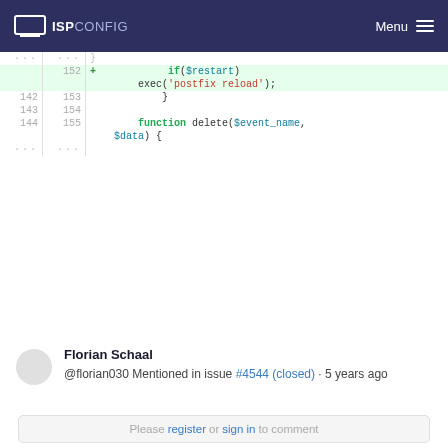ISPConfig Menu
[Figure (screenshot): Code diff showing PHP code with line numbers. Added lines (green highlight) show: if($restart) exec('postfix reload'); Line 153: closing brace, Line 154: blank, Line 155: function delete($event_name, $data) {]
Florian Schaal
@florian030 Mentioned in issue #4544 (closed) · 5 years ago
Please register or sign in to comment